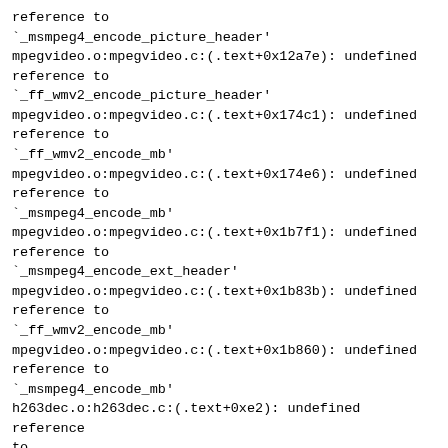reference to
`_msmpeg4_encode_picture_header'
mpegvideo.o:mpegvideo.c:(.text+0x12a7e): undefined
reference to
`_ff_wmv2_encode_picture_header'
mpegvideo.o:mpegvideo.c:(.text+0x174c1): undefined
reference to
`_ff_wmv2_encode_mb'
mpegvideo.o:mpegvideo.c:(.text+0x174e6): undefined
reference to
`_msmpeg4_encode_mb'
mpegvideo.o:mpegvideo.c:(.text+0x1b7f1): undefined
reference to
`_msmpeg4_encode_ext_header'
mpegvideo.o:mpegvideo.c:(.text+0x1b83b): undefined
reference to
`_ff_wmv2_encode_mb'
mpegvideo.o:mpegvideo.c:(.text+0x1b860): undefined
reference to
`_msmpeg4_encode_mb'
h263dec.o:h263dec.c:(.text+0xe2): undefined reference
to
`_ff_msmpeg4_decode_init'
h263dec.o:h263dec.c:(.text+0x1385): undefined reference
to
`_msmpeg4_decode_picture_header'
h263dec.o:h263dec.c:(.text+0x143a): undefined reference
to
`_ff_wmv2_decode_picture_header'
h263dec.o:h263dec.c:(.text+0x17ec): undefined reference